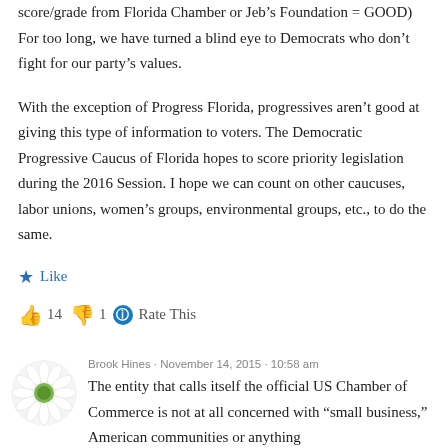score/grade from Florida Chamber or Jeb's Foundation = GOOD) For too long, we have turned a blind eye to Democrats who don't fight for our party's values.
With the exception of Progress Florida, progressives aren't good at giving this type of information to voters. The Democratic Progressive Caucus of Florida hopes to score priority legislation during the 2016 Session. I hope we can count on other caucuses, labor unions, women's groups, environmental groups, etc., to do the same.
★ Like
👍 14 👎 1 ⓘ Rate This
Brook Hines · November 14, 2015 · 10:58 am
The entity that calls itself the official US Chamber of Commerce is not at all concerned with "small business," American communities or anything